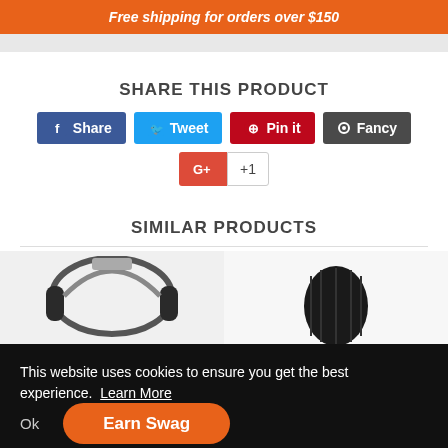Free shipping for orders over $150
SHARE THIS PRODUCT
[Figure (other): Social share buttons: Share (Facebook), Tweet (Twitter), Pin it (Pinterest), Fancy, and Google +1]
SIMILAR PRODUCTS
[Figure (photo): Product image showing over-ear headphones on left side]
[Figure (photo): Product image showing a dark ribbed speaker or accessory on right side]
This website uses cookies to ensure you get the best experience. Learn More
Ok
Earn Swag